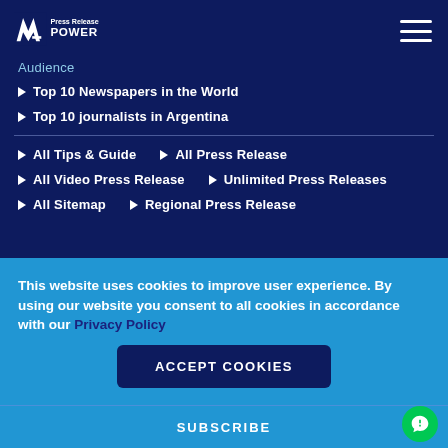[Figure (logo): Press Release POWER logo — white angular M-like icon with text 'Press Release POWER']
Audience
Top 10 Newspapers in the World
Top 10 journalists in Argentina
All Tips & Guide
All Press Release
All Video Press Release
Unlimited Press Releases
All Sitemap
Regional Press Release
This website uses cookies to improve user experience. By using our website you consent to all cookies in accordance with our Privacy Policy
ACCEPT COOKIES
SUBSCRIBE